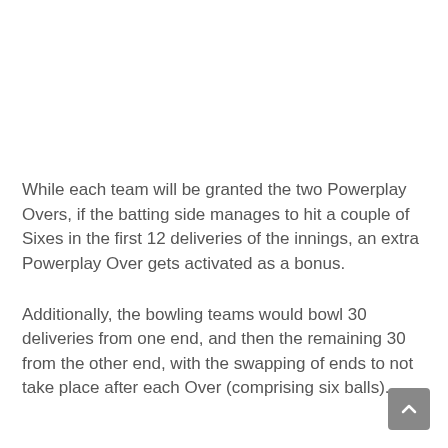While each team will be granted the two Powerplay Overs, if the batting side manages to hit a couple of Sixes in the first 12 deliveries of the innings, an extra Powerplay Over gets activated as a bonus.
Additionally, the bowling teams would bowl 30 deliveries from one end, and then the remaining 30 from the other end, with the swapping of ends to not take place after each Over (comprising six balls).